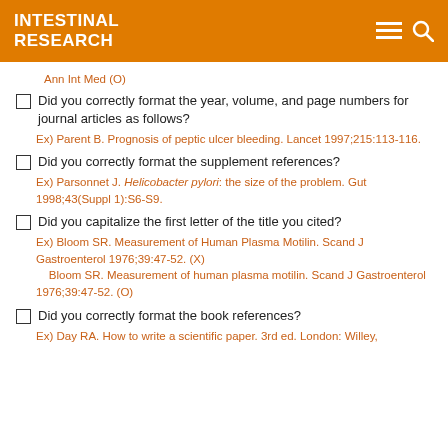INTESTINAL RESEARCH
Ann Int Med (O)
Did you correctly format the year, volume, and page numbers for journal articles as follows?
Ex) Parent B. Prognosis of peptic ulcer bleeding. Lancet 1997;215:113-116.
Did you correctly format the supplement references?
Ex) Parsonnet J. Helicobacter pylori: the size of the problem. Gut 1998;43(Suppl 1):S6-S9.
Did you capitalize the first letter of the title you cited?
Ex) Bloom SR. Measurement of Human Plasma Motilin. Scand J Gastroenterol 1976;39:47-52. (X)
Bloom SR. Measurement of human plasma motilin. Scand J Gastroenterol 1976;39:47-52. (O)
Did you correctly format the book references?
Ex) Day RA. How to write a scientific paper. 3rd ed. London: Willey,